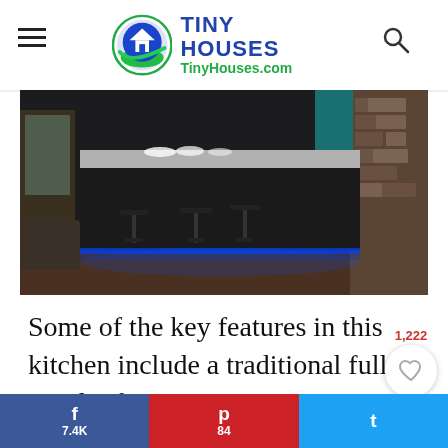TINY HOUSES TinyHouses.com
[Figure (photo): Interior kitchen photo of a tiny house showing a dark island/bar with bar stools, blue LED lighting underneath, and stone wall accent.]
Some of the key features in this kitchen include a traditional full-sized refrigerator, microwave, and stove. In fact, this home truly offers space that is perhaps even larger
f 7.4K   p 84   t